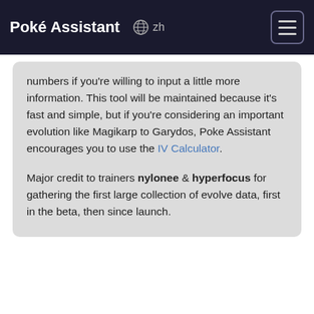Poké Assistant   🌐 zh
numbers if you're willing to input a little more information. This tool will be maintained because it's fast and simple, but if you're considering an important evolution like Magikarp to Garydos, Poke Assistant encourages you to use the IV Calculator.
Major credit to trainers nylonee & hyperfocus for gathering the first large collection of evolve data, first in the beta, then since launch.